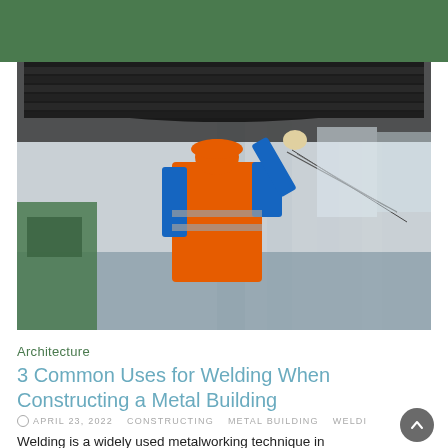[Figure (photo): Worker in orange safety vest and hard hat reaching up to guide a large industrial metal cylinder/roller in a factory setting]
Architecture
3 Common Uses for Welding When Constructing a Metal Building
APRIL 23, 2022   CONSTRUCTING   METAL BUILDING   WELDING
Welding is a widely used metalworking technique in